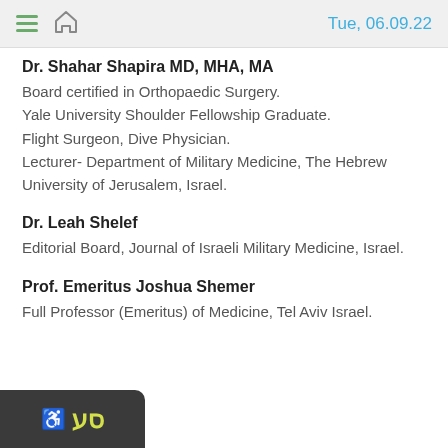Tue, 06.09.22
Dr. Shahar Shapira MD, MHA, MA
Board certified in Orthopaedic Surgery. Yale University Shoulder Fellowship Graduate. Flight Surgeon, Dive Physician. Lecturer- Department of Military Medicine, The Hebrew University of Jerusalem, Israel.
Dr. Leah Shelef
Editorial Board, Journal of Israeli Military Medicine, Israel.
Prof. Emeritus Joshua Shemer
Full Professor (Emeritus) of Medicine, Tel Aviv Israel.